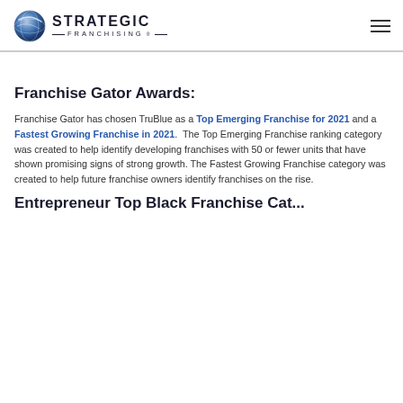STRATEGIC FRANCHISING
Franchise Gator Awards:
Franchise Gator has chosen TruBlue as a Top Emerging Franchise for 2021 and a Fastest Growing Franchise in 2021.  The Top Emerging Franchise ranking category was created to help identify developing franchises with 50 or fewer units that have shown promising signs of strong growth. The Fastest Growing Franchise category was created to help future franchise owners identify franchises on the rise.
Entrepreneur Top Black Franchise Cat...